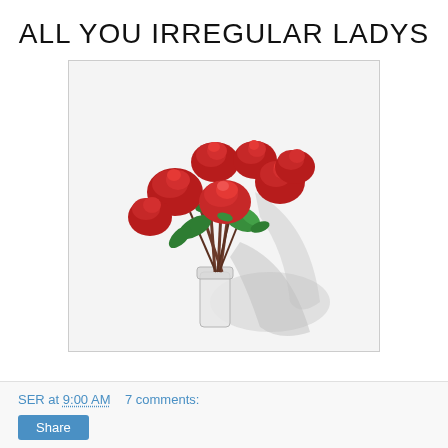ALL YOU IRREGULAR LADYS
[Figure (photo): A bouquet of red roses in a clear glass vase, with green leaves and a shadow cast to the right, on a white background.]
SER at 9:00 AM    7 comments:
Share